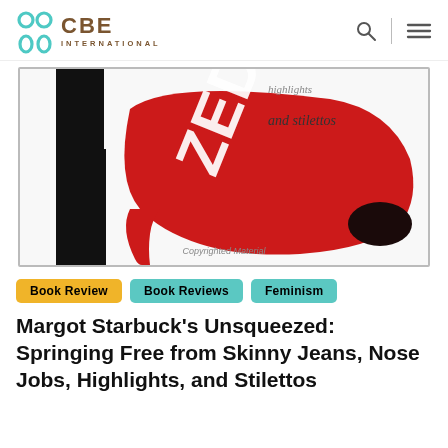CBE INTERNATIONAL
[Figure (photo): Book cover showing a red high-heel stiletto shoe and a black silhouette of a woman's leg against a white background, with partial text 'ZED' in white on the red shoe. Small watermark reads 'Copyrighted Material'. Part of the text 'Highlights' and 'and stilettos' visible in upper right.]
Book Review   Book Reviews   Feminism
Margot Starbuck's Unsqueezed: Springing Free from Skinny Jeans, Nose Jobs, Highlights, and Stilettos